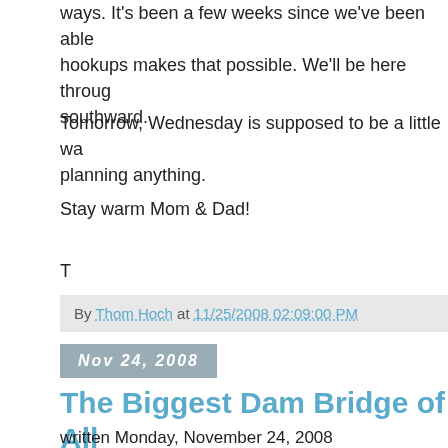ways. It's been a few weeks since we've been able... hookups makes that possible. We'll be here through... southward.
Tomorrow, Wednesday is supposed to be a little wa... planning anything.
Stay warm Mom & Dad!
T
By Thom Hoch at 11/25/2008 02:09:00 PM
Nov 24, 2008
The Biggest Dam Bridge of All
written Monday, November 24, 2008
Maumolle COE Park near Little Rock, AR